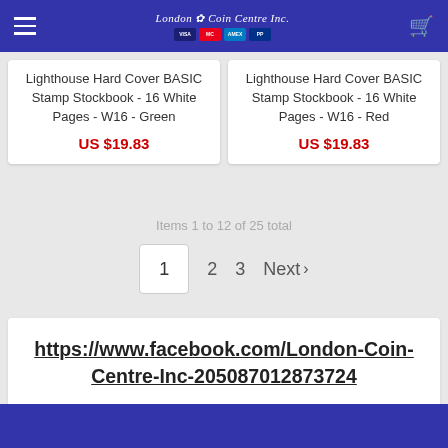London Coin Centre Inc — navigation header with payment icons
Lighthouse Hard Cover BASIC Stamp Stockbook - 16 White Pages - W16 - Green
US $19.83
Lighthouse Hard Cover BASIC Stamp Stockbook - 16 White Pages - W16 - Red
US $19.83
Items 1 to 12 of 25 total
1  2  3  Next ›
https://www.facebook.com/London-Coin-Centre-Inc-205087012873724
Blue footer bar